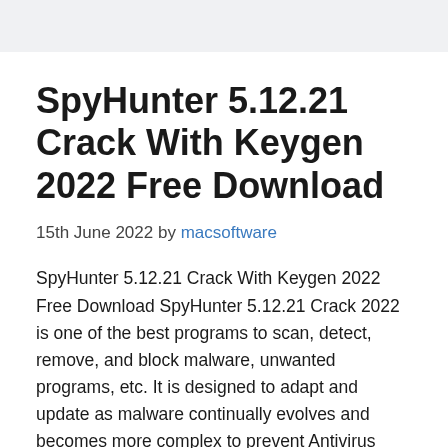SpyHunter 5.12.21 Crack With Keygen 2022 Free Download
15th June 2022 by macsoftware
SpyHunter 5.12.21 Crack With Keygen 2022 Free Download SpyHunter 5.12.21 Crack 2022 is one of the best programs to scan, detect, remove, and block malware, unwanted programs, etc. It is designed to adapt and update as malware continually evolves and becomes more complex to prevent Antivirus software detection. It